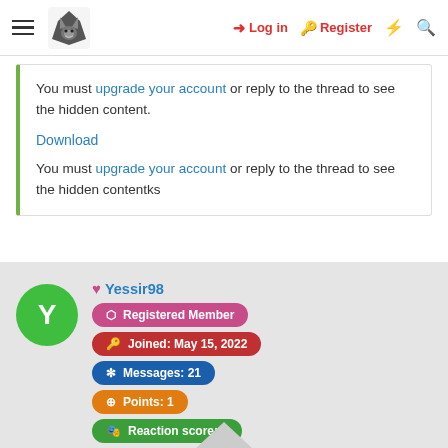Log in | Register
You must upgrade your account or reply to the thread to see the hidden content.
Download
You must upgrade your account or reply to the thread to see the hidden contentks
Yessir98
Registered Member
Joined: May 15, 2022
Messages: 21
Points: 1
Reaction score: 0